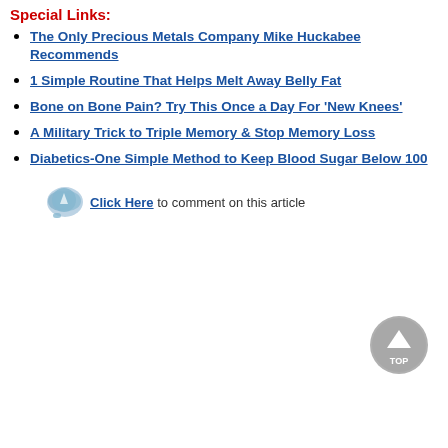Special Links:
The Only Precious Metals Company Mike Huckabee Recommends
1 Simple Routine That Helps Melt Away Belly Fat
Bone on Bone Pain? Try This Once a Day For 'New Knees'
A Military Trick to Triple Memory & Stop Memory Loss
Diabetics-One Simple Method to Keep Blood Sugar Below 100
Click Here to comment on this article
[Figure (illustration): Grey circular button with up arrow and text TOP]